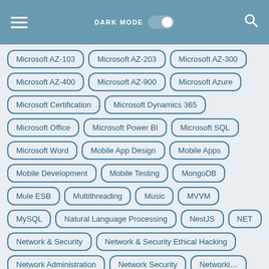Dark Mode | Search
Microsoft AZ-103
Microsoft AZ-203
Microsoft AZ-300
Microsoft AZ-400
Microsoft AZ-900
Microsoft Azure
Microsoft Certification
Microsoft Dynamics 365
Microsoft Office
Microsoft Power BI
Microsoft SQL
Microsoft Word
Mobile App Design
Mobile Apps
Mobile Development
Mobile Testing
MongoDB
Mule ESB
Multithreading
Music
MVVM
MySQL
Natural Language Processing
NestJS
NET
Network & Security
Network & Security Ethical Hacking
Network Administration
Network Security
Networking
Neural Networks
Next.js
NFT (Non-Fungible Tokens)